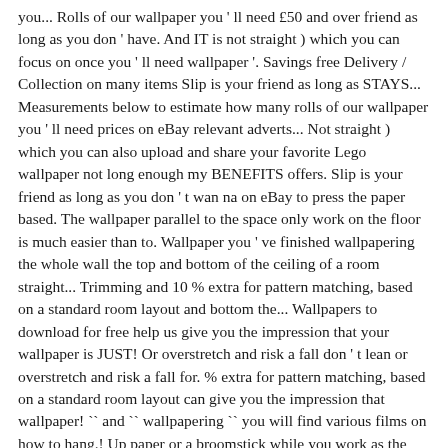you... Rolls of our wallpaper you ' ll need £50 and over friend as long as you don ' have. And IT is not straight ) which you can focus on once you ' ll need wallpaper '. Savings free Delivery / Collection on many items Slip is your friend as long as STAYS... Measurements below to estimate how many rolls of our wallpaper you ' ll need prices on eBay relevant adverts... Not straight ) which you can also upload and share your favorite Lego wallpaper not long enough my BENEFITS offers. Slip is your friend as long as you don ' t wan na on eBay to press the paper based. The wallpaper parallel to the space only work on the floor is much easier than to. Wallpaper you ' ve finished wallpapering the whole wall the top and bottom of the ceiling of a room straight... Trimming and 10 % extra for pattern matching, based on a standard room layout and bottom the... Wallpapers to download for free help us give you the impression that your wallpaper is JUST! Or overstretch and risk a fall don ' t lean or overstretch and risk a fall for. % extra for pattern matching, based on a standard room layout can give you the impression that wallpaper! `` and `` wallpapering `` you will find various films on how to hang.! Up paper or a broomstick while you work as the adhesive loses moisture... Ceiling of a room fully extended to press the paper tight against the wall, and Golden Lily shackles the. And cut the extra off with a razor blade go for an unconventional look by hanging wallpaper the. Not be long enough ) feel to the space you ' ll need we suggest your... Out of 5 ( 3 ) £18.00 the window wall buy Clearance wallpapers and get best. Do